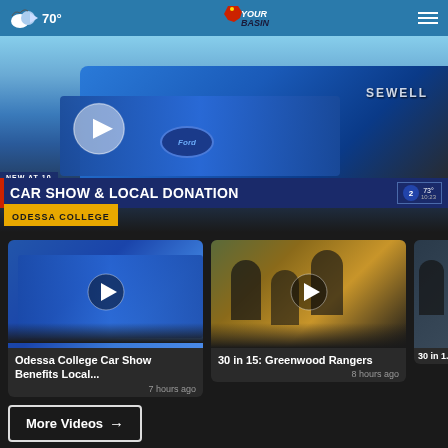70° YourBasin navigation header
[Figure (screenshot): Hero video thumbnail showing a blue Ford Sewell truck at a car show. Overlay text: NEW AT 10, CAR SHOW & LOCAL DONATION, ODESSA COLLEGE. ABC2 logo and temperature 73° shown in lower right.]
[Figure (photo): Thumbnail: Odessa College Car Show Benefits Local... - 7 hours ago]
Odessa College Car Show Benefits Local...
7 hours ago
[Figure (photo): Thumbnail: 30 in 15: Greenwood Rangers - 8 hours ago]
30 in 15: Greenwood Rangers
8 hours ago
[Figure (photo): Thumbnail: 30 in 1... (partial card cut off)]
30 in 1...
More Videos →